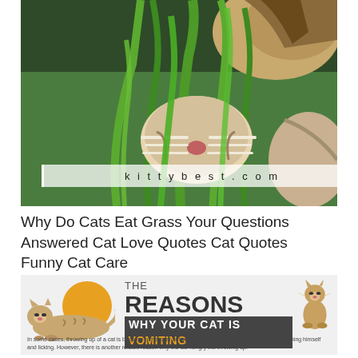[Figure (photo): Close-up photo of a tabby cat sniffing or eating green grass blades, with a semi-transparent white watermark bar showing 'kittybest.com' in spaced lettering]
Why Do Cats Eat Grass Your Questions Answered Cat Love Quotes Cat Quotes Funny Cat Care
[Figure (infographic): Infographic banner with gray background, gold circle, illustrated cat lying down, sitting cat on right, bold text reading 'THE REASONS WHY YOUR CAT IS VOMITING', small caption text below]
In some cases, throwing up of a cat is because of his over obsessive-compulsive tendencies such as grooming himself and licking. However, there is another related reason why the cat hungry but throwing up.